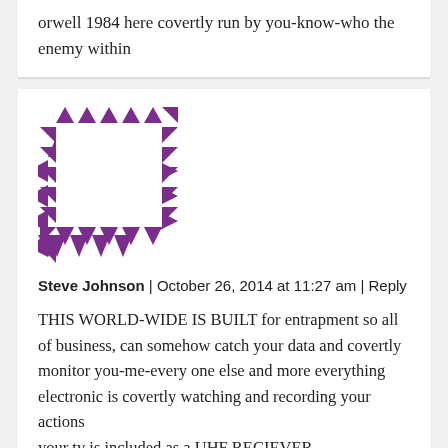orwell 1984 here covertly run by you-know-who the enemy within
[Figure (illustration): Purple geometric avatar consisting of triangles arranged in a square border pattern forming a decorative icon]
Steve Johnson | October 26, 2014 at 11:27 am | Reply
THIS WORLD-WIDE IS BUILT for entrapment so all of business, can somehow catch your data and covertly monitor you-me-every one else and more everything electronic is covertly watching and recording your actions your tv is included as a UHF RECIEVER,